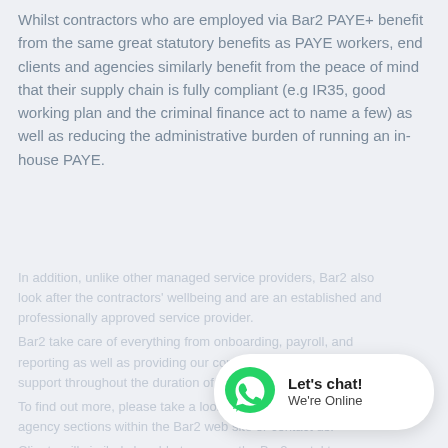Whilst contractors who are employed via Bar2 PAYE+ benefit from the same great statutory benefits as PAYE workers, end clients and agencies similarly benefit from the peace of mind that their supply chain is fully compliant (e.g IR35, good working plan and the criminal finance act to name a few) as well as reducing the administrative burden of running an in-house PAYE.
[faded/partially visible text block below]
[Figure (other): WhatsApp chat widget with green WhatsApp phone icon, text 'Let's chat!' in bold and 'We're Online' below it, on a white rounded rectangle background.]